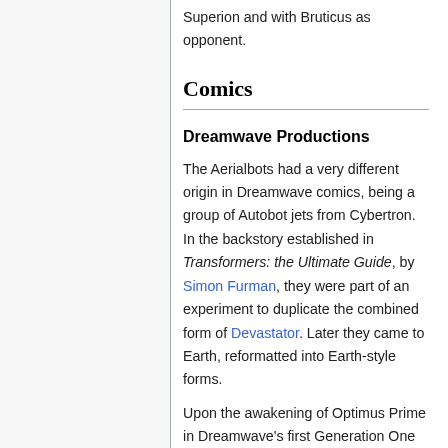Superion and with Bruticus as opponent.
Comics
Dreamwave Productions
The Aerialbots had a very different origin in Dreamwave comics, being a group of Autobot jets from Cybertron. In the backstory established in Transformers: the Ultimate Guide, by Simon Furman, they were part of an experiment to duplicate the combined form of Devastator. Later they came to Earth, reformatted into Earth-style forms.
Upon the awakening of Optimus Prime in Dreamwave's first Generation One mini-series, the Aerialbots were among the Autobots summoned by Optimus to rescue the remaining Autobots, who had been turned into mind-controlled